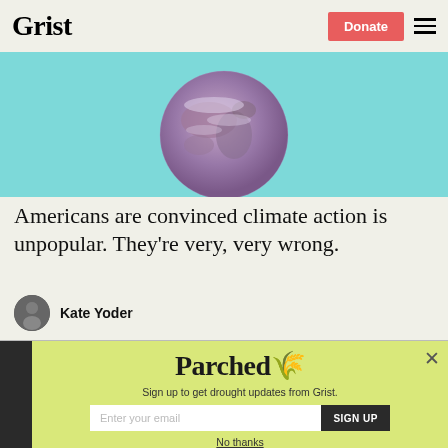Grist
[Figure (photo): Partial globe (Earth) photograph on a teal/cyan background, cropped to show upper hemisphere]
Americans are convinced climate action is unpopular. They're very, very wrong.
Kate Yoder
Parched
Sign up to get drought updates from Grist.
Enter your email
SIGN UP
No thanks